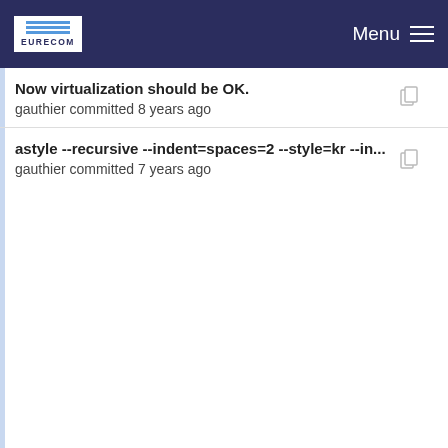EURECOM | Menu
Now virtualization should be OK.
gauthier committed 8 years ago
astyle --recursive --indent=spaces=2 --style=kr --in...
gauthier committed 7 years ago
add more logs to debug memory leak problem
Wilson committed 5 years ago
astyle --recursive --indent=spaces=2 --style=kr --in...
gauthier committed 7 years ago
- Fix: avoid infinite loop on mulitcast read thread if n...